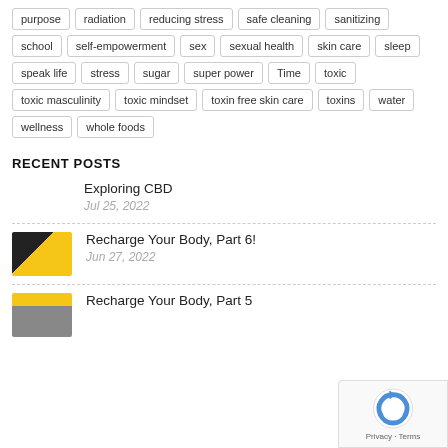purpose
radiation
reducing stress
safe cleaning
sanitizing
school
self-empowerment
sex
sexual health
skin care
sleep
speak life
stress
sugar
super power
Time
toxic
toxic masculinity
toxic mindset
toxin free skin care
toxins
water
wellness
whole foods
RECENT POSTS
Exploring CBD
Jul 25, 2022
Recharge Your Body, Part 6!
Jun 27, 2022
Recharge Your Body, Part 5